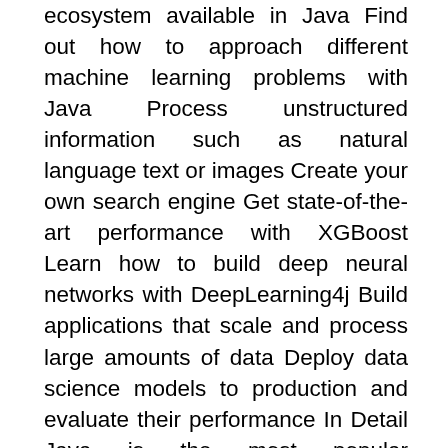ecosystem available in Java Find out how to approach different machine learning problems with Java Process unstructured information such as natural language text or images Create your own search engine Get state-of-the-art performance with XGBoost Learn how to build deep neural networks with DeepLearning4j Build applications that scale and process large amounts of data Deploy data science models to production and evaluate their performance In Detail Java is the most popular programming language, according to the TIOBE index, and it is a typical choice for running production systems in many companies, both in the startup world and among large enterprises. Not surprisingly, it is also a common choice for creating data science applications: it is fast and has a great set of data processing tools, both built-in and external. What is more, choosing